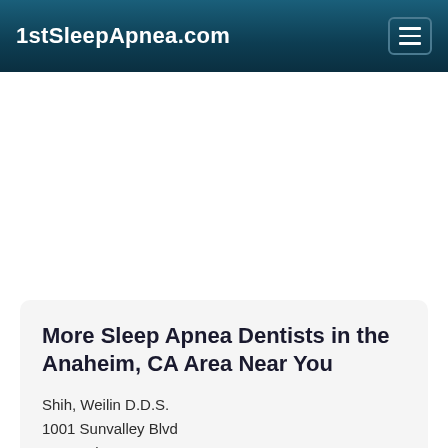1stSleepApnea.com
More Sleep Apnea Dentists in the Anaheim, CA Area Near You
Shih, Weilin D.D.S.
1001 Sunvalley Blvd
Concord, CA, 94520-5802